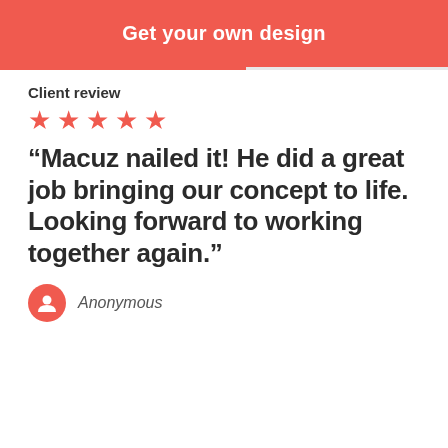Get your own design
Client review
[Figure (infographic): Five red star rating icons in a row]
“Macuz nailed it! He did a great job bringing our concept to life. Looking forward to working together again.”
Anonymous